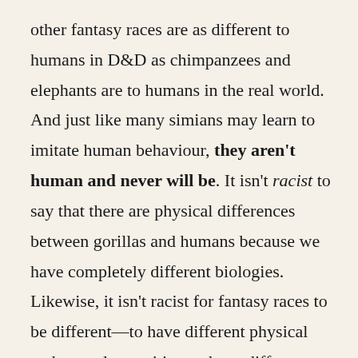other fantasy races are as different to humans in D&D as chimpanzees and elephants are to humans in the real world. And just like many simians may learn to imitate human behaviour, they aren't human and never will be. It isn't racist to say that there are physical differences between gorillas and humans because we have completely different biologies. Likewise, it isn't racist for fantasy races to be different—to have different physical and mental capacities, to have different metaphysical abilities, and to even have a completely different moral compass.